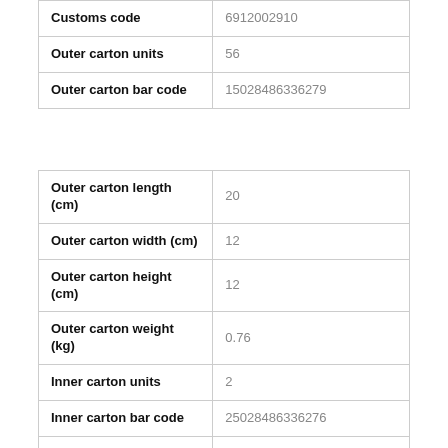|  |  |
| --- | --- |
| Customs code | 6912002910 |
| Outer carton units | 56 |
| Outer carton bar code | 15028486336279 |
|  |  |
| --- | --- |
| Outer carton length (cm) | 20 |
| Outer carton width (cm) | 12 |
| Outer carton height (cm) | 12 |
| Outer carton weight (kg) | 0.76 |
| Inner carton units | 2 |
| Inner carton bar code | 25028486336276 |
| Country of origin | Chine |
| Pallet unit total | 396 |
| Outer cartons per layer | 33 |
| Layers per pallet | 6 |
| Outer cartons per pallet | 198 |
| Palette height (cm) | 2 |